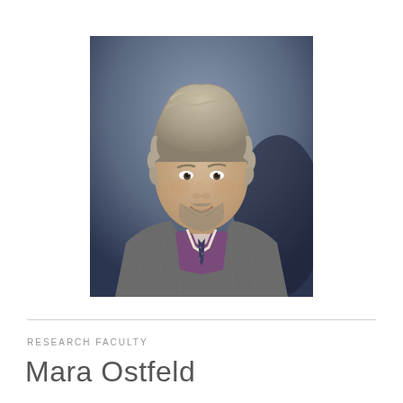[Figure (photo): Headshot photo of a man with curly gray-blonde hair and a beard, wearing a gray pinstripe suit jacket, purple sweater, and dark tie, against a dark blue background]
RESEARCH FACULTY
Mara Ostfeld